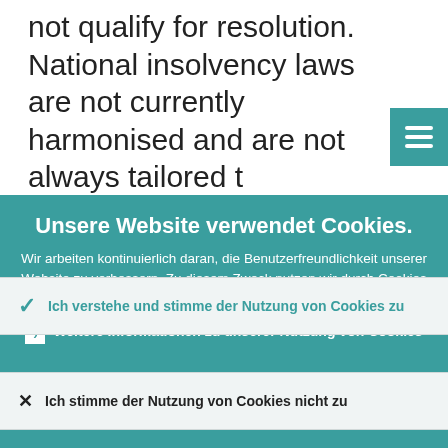not qualify for resolution. National insolvency laws are not currently harmonised and are not always tailored t…
Unsere Website verwendet Cookies.
Wir arbeiten kontinuierlich daran, die Benutzerfreundlichkeit unserer Website zu verbessern. Zu diesem Zweck nutzen wir durch Cookies erfasste anonymisierte Daten.
Weitere Informationen zu unserer Nutzung von Cookies
Ich verstehe und stimme der Nutzung von Cookies zu
Ich stimme der Nutzung von Cookies nicht zu